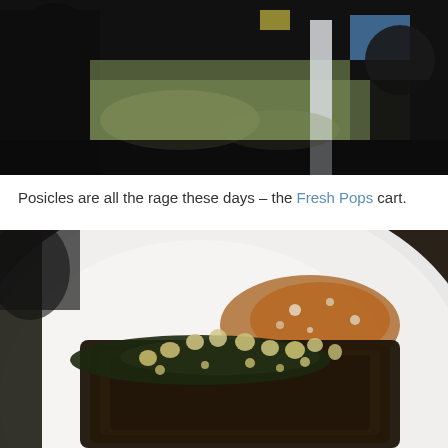[Figure (photo): Outdoor scene with blurred background showing people, grass, and a white structure/pole. Dark foreground elements. Photo is partially cropped at top.]
Posicles are all the rage these days – the Fresh Pops cart.
[Figure (photo): Close-up of a grilled or charred piece of meat topped with corn kernels and herbs on a white plate, with sauce/drippings visible.]